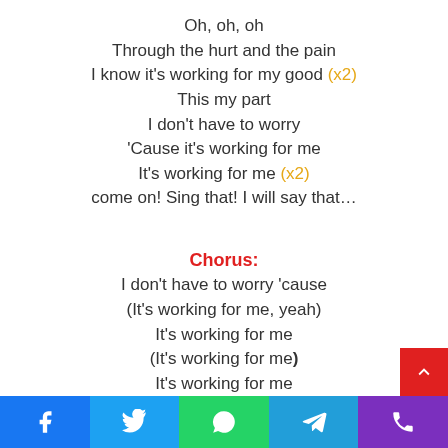Oh, oh, oh
Through the hurt and the pain
I know it's working for my good (x2)
This my part
I don't have to worry
'Cause it's working for me
It's working for me (x2)
come on! Sing that! I will say that…
Chorus:
I don't have to worry 'cause
(It's working for me, yeah)
It's working for me
(It's working for me)
It's working for me
(And i can hold my head up)
Social share bar with Facebook, Twitter, WhatsApp, Telegram, Phone icons